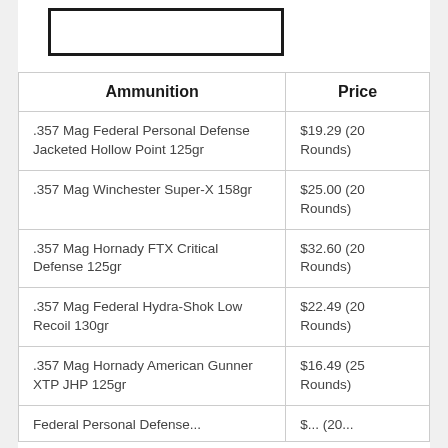[Figure (other): Rectangular outline placeholder image at top of page]
| Ammunition | Price |
| --- | --- |
| .357 Mag Federal Personal Defense Jacketed Hollow Point 125gr | $19.29 (20 Rounds) |
| .357 Mag Winchester Super-X 158gr | $25.00 (20 Rounds) |
| .357 Mag Hornady FTX Critical Defense 125gr | $32.60 (20 Rounds) |
| .357 Mag Federal Hydra-Shok Low Recoil 130gr | $22.49 (20 Rounds) |
| .357 Mag Hornady American Gunner XTP JHP 125gr | $16.49 (25 Rounds) |
| Federal Personal Defense... | $... (20... |